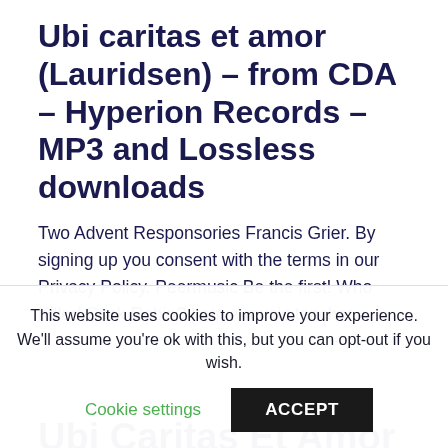Ubi caritas et amor (Lauridsen) – from CDA – Hyperion Records – MP3 and Lossless downloads
Two Advent Responsories Francis Grier. By signing up you consent with the terms in our Privacy Policy. Peermusic Be the first! Who Killed Cock Robin? I am a music teacher.
Ubi Caritas Et Amor
This website uses cookies to improve your experience. We'll assume you're ok with this, but you can opt-out if you wish.